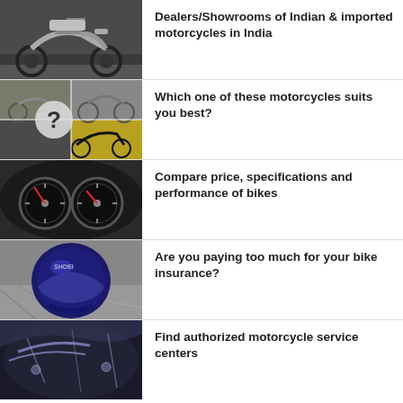[Figure (photo): Harley-Davidson style motorcycle parked outdoors]
Dealers/Showrooms of Indian & imported motorcycles in India
[Figure (photo): Collage of different motorcycle types with question mark overlay]
Which one of these motorcycles suits you best?
[Figure (photo): Close-up of motorcycle speedometer and gauges in black and white]
Compare price, specifications and performance of bikes
[Figure (photo): Blue motorcycle helmet (Shoei brand) on pavement]
Are you paying too much for your bike insurance?
[Figure (photo): Close-up of motorcycle fuel tank and chrome details]
Find authorized motorcycle service centers